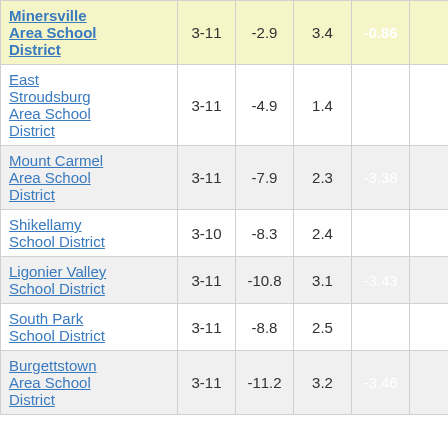| District | Grades | Col3 | Col4 | Col5 | Col6 |
| --- | --- | --- | --- | --- | --- |
| Minersville Area School District | 3-11 | -2.9 | 3.4 | -0.86 | … |
| East Stroudsburg Area School District | 3-11 | -4.9 | 1.4 | -3.38 | … |
| Mount Carmel Area School District | 3-11 | -7.9 | 2.3 | -3.38 | … |
| Shikellamy School District | 3-10 | -8.3 | 2.4 | -3.42 | … |
| Ligonier Valley School District | 3-11 | -10.8 | 3.1 | -3.43 | … |
| South Park School District | 3-11 | -8.8 | 2.5 | -3.46 | … |
| Burgettstown Area School District | 3-11 | -11.2 | 3.2 | -3.46 | … |